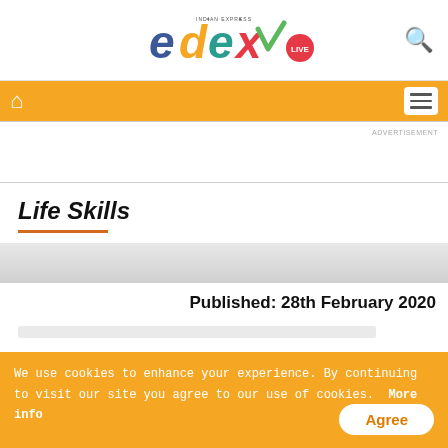[Figure (logo): edexlive logo with Indian Express branding, colorful text 'edex' with 'LIVE' badge]
[Figure (other): Search icon (magnifying glass) top right]
[Figure (other): Orange navigation bar with home icon and hamburger menu]
ADVERTISEMENT
Life Skills
Published: 28th February 2020
We use cookies to enhance your experience. By continuing to visit our site you agree to our use of cookies.  More info
Agree